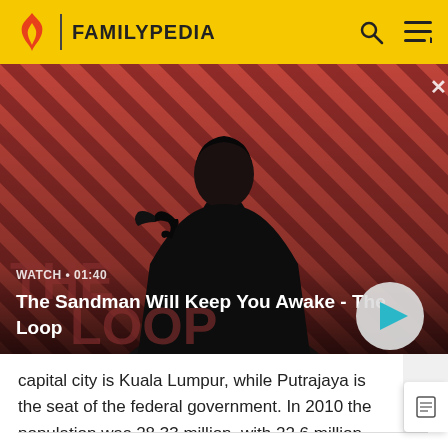FAMILYPEDIA
[Figure (screenshot): Video thumbnail for 'The Sandman Will Keep You Awake - The Loop' with a man in dark clothing, a raven on his shoulder, against a red and dark diagonal striped background. Shows WATCH • 01:40 label and a play button.]
capital city is Kuala Lumpur, while Putrajaya is the seat of the federal government. In 2010 the population was 28.33 million, with 22.6 million living on the Peninsula.